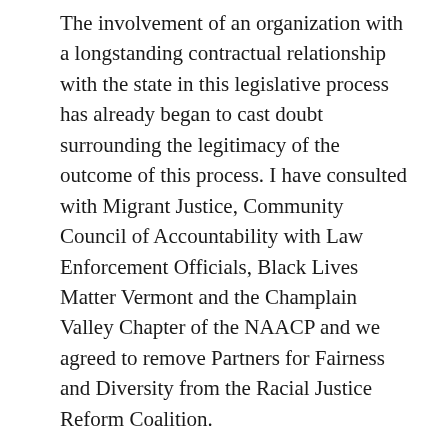The involvement of an organization with a longstanding contractual relationship with the state in this legislative process has already began to cast doubt surrounding the legitimacy of the outcome of this process. I have consulted with Migrant Justice, Community Council of Accountability with Law Enforcement Officials, Black Lives Matter Vermont and the Champlain Valley Chapter of the NAACP and we agreed to remove Partners for Fairness and Diversity from the Racial Justice Reform Coalition.
The priority of the original intent of this bill was to enable the legislature to better monitor the work that is being done by law enforcement to address implicit bias and; provide